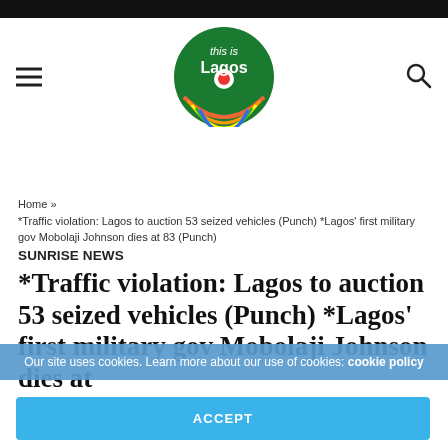this is Lagos (logo)
Home » *Traffic violation: Lagos to auction 53 seized vehicles (Punch) *Lagos' first military gov Mobolaji Johnson dies at 83 (Punch)
SUNRISE NEWS
*Traffic violation: Lagos to auction 53 seized vehicles (Punch) *Lagos' first military gov Mobolaji Johnson dies at
Our site uses cookies. Learn more about our use of cookies: cookie policy
ACCEPT